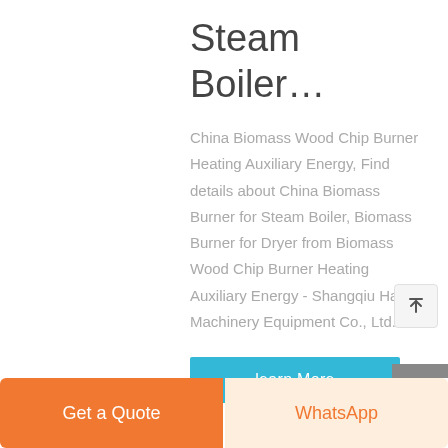Steam Boiler…
China Biomass Wood Chip Burner Heating Auxiliary Energy, Find details about China Biomass Burner for Steam Boiler, Biomass Burner for Dryer from Biomass Wood Chip Burner Heating Auxiliary Energy - Shangqiu Haiqi Machinery Equipment Co., Ltd.
learn More
Get a Quote
WhatsApp